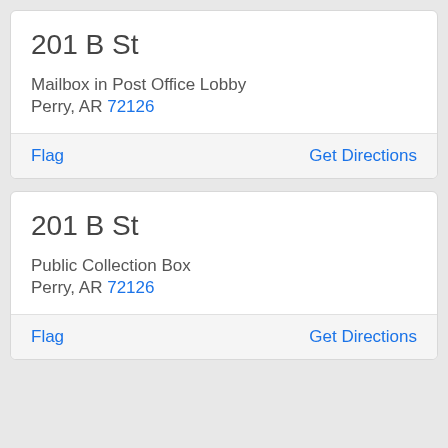201 B St
Mailbox in Post Office Lobby
Perry, AR 72126
Flag    Get Directions
201 B St
Public Collection Box
Perry, AR 72126
Flag    Get Directions